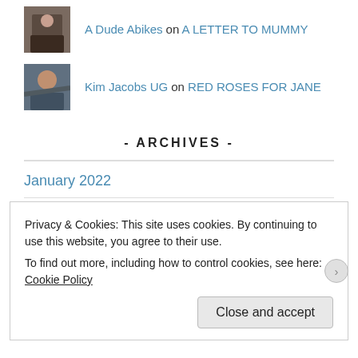A Dude Abikes on A LETTER TO MUMMY
Kim Jacobs UG on RED ROSES FOR JANE
- ARCHIVES -
January 2022
March 2018
February 2018
Privacy & Cookies: This site uses cookies. By continuing to use this website, you agree to their use.
To find out more, including how to control cookies, see here: Cookie Policy
Close and accept